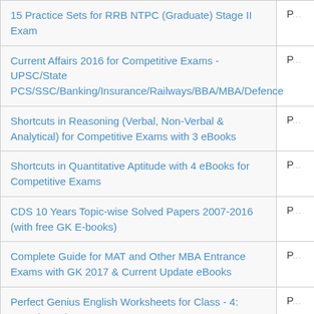| Book Title | P... |
| --- | --- |
| 15 Practice Sets for RRB NTPC (Graduate) Stage II Exam | P... |
| Current Affairs 2016 for Competitive Exams - UPSC/State PCS/SSC/Banking/Insurance/Railways/BBA/MBA/Defence | P... |
| Shortcuts in Reasoning (Verbal, Non-Verbal & Analytical) for Competitive Exams with 3 eBooks | P... |
| Shortcuts in Quantitative Aptitude with 4 eBooks for Competitive Exams | P... |
| CDS 10 Years Topic-wise Solved Papers 2007-2016 (with free GK E-books) | P... |
| Complete Guide for MAT and Other MBA Entrance Exams with GK 2017 & Current Update eBooks | P... |
| Perfect Genius English Worksheets for Class - 4: Based on Bloom's Taxonomy | P... |
| NTSE-NMMS/Olympiads Champs Class 8 Science/Social Science - Vol. 1 | P... |
| Target NTSE Class 10 Stage 1 & 2 - Solved Papers + 5 | P... |